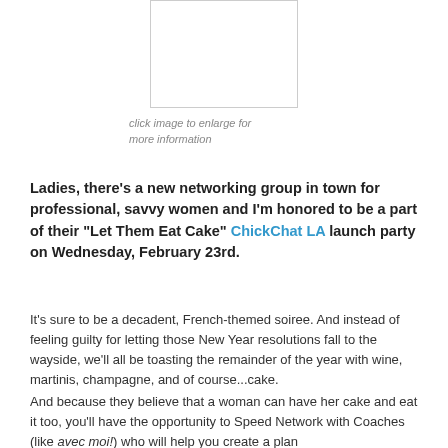[Figure (other): White rectangle image placeholder with light border]
click image to enlarge for more information
Ladies, there’s a new networking group in town for professional, savvy women and I’m honored to be a part of their “Let Them Eat Cake” ChickChat LA launch party on Wednesday, February 23rd.
It’s sure to be a decadent, French-themed soiree. And instead of feeling guilty for letting those New Year resolutions fall to the wayside, we’ll all be toasting the remainder of the year with wine, martinis, champagne, and of course...cake.
And because they believe that a woman can have her cake and eat it too, you’ll have the opportunity to Speed Network with Coaches (like avec moi!) who will help you create a plan